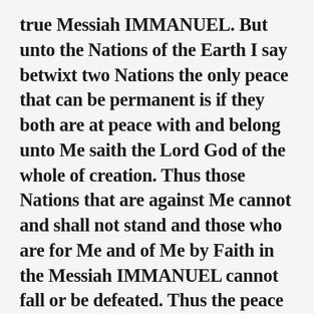true Messiah IMMANUEL. But unto the Nations of the Earth I say betwixt two Nations the only peace that can be permanent is if they both are at peace with and belong unto Me saith the Lord God of the whole of creation. Thus those Nations that are against Me cannot and shall not stand and those who are for Me and of Me by Faith in the Messiah IMMANUEL cannot fall or be defeated. Thus the peace I freely give is an everlasting peace beyond Measure but not just an everlasting peace between those Nations that belong unto Me by Faith in the MESSIAH but also